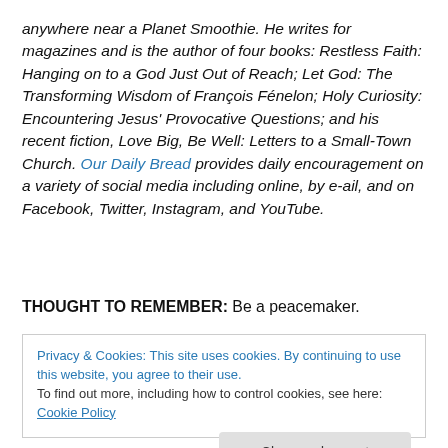anywhere near a Planet Smoothie. He writes for magazines and is the author of four books: Restless Faith: Hanging on to a God Just Out of Reach; Let God: The Transforming Wisdom of François Fénelon; Holy Curiosity: Encountering Jesus' Provocative Questions; and his recent fiction, Love Big, Be Well: Letters to a Small-Town Church. Our Daily Bread provides daily encouragement on a variety of social media including online, by e-ail, and on Facebook, Twitter, Instagram, and YouTube.
THOUGHT TO REMEMBER: Be a peacemaker.
Privacy & Cookies: This site uses cookies. By continuing to use this website, you agree to their use. To find out more, including how to control cookies, see here: Cookie Policy